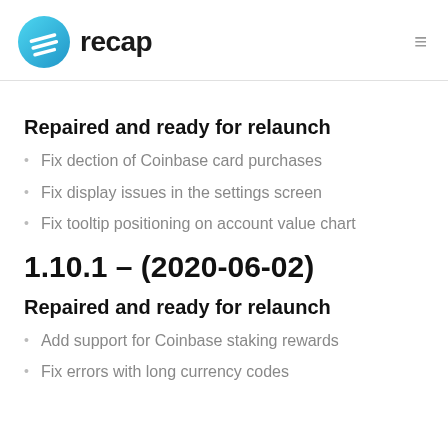recap
Repaired and ready for relaunch
Fix dection of Coinbase card purchases
Fix display issues in the settings screen
Fix tooltip positioning on account value chart
1.10.1 – (2020-06-02)
Repaired and ready for relaunch
Add support for Coinbase staking rewards
Fix errors with long currency codes